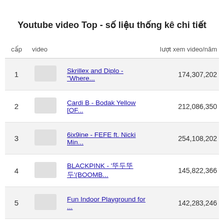Youtube video Top - số liệu thống kê chi tiết
| cấp | video |  | lượt xem video/năm |
| --- | --- | --- | --- |
| 1 |  | Skrillex and Diplo - "Where... | 174,307,202 |
| 2 |  | Cardi B - Bodak Yellow [OF... | 212,086,350 |
| 3 |  | 6ix9ine - FEFE ft. Nicki Min... | 254,108,202 |
| 4 |  | BLACKPINK - '뚜두뚜두'(BOOMB... | 145,822,366 |
| 5 |  | Fun Indoor Playground for ... | 142,283,246 |
| 6 |  | Kids 72 Costume Runway_... | 78,020,550 |